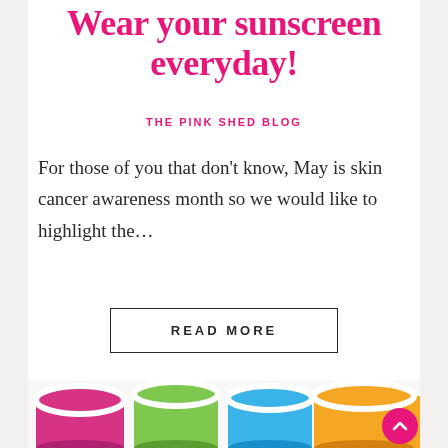Wear your sunscreen everyday!
THE PINK SHED BLOG
For those of you that don't know, May is skin cancer awareness month so we would like to highlight the…
READ MORE
[Figure (photo): Colorful paint cans viewed from above showing various colors including pink, magenta, green, blue, orange and rainbow colors arranged in a row]